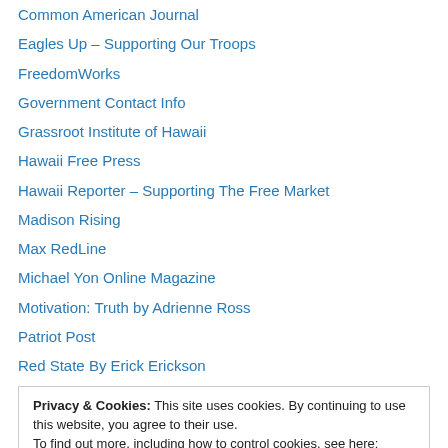Common American Journal
Eagles Up – Supporting Our Troops
FreedomWorks
Government Contact Info
Grassroot Institute of Hawaii
Hawaii Free Press
Hawaii Reporter – Supporting The Free Market
Madison Rising
Max RedLine
Michael Yon Online Magazine
Motivation: Truth by Adrienne Ross
Patriot Post
Red State By Erick Erickson
Privacy & Cookies: This site uses cookies. By continuing to use this website, you agree to their use. To find out more, including how to control cookies, see here: Cookie Policy
The Conservative Underground